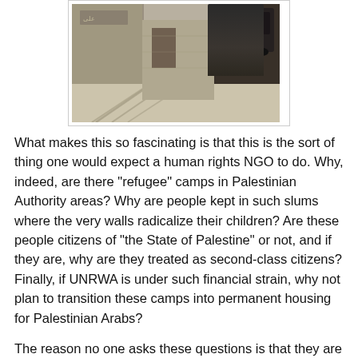[Figure (photo): Photograph of a narrow alley or street in a refugee camp area, showing worn stone/concrete walls with graffiti, sandy ground with shadows, and a dark car visible in the upper right. The scene appears to be in the Middle East.]
What makes this so fascinating is that this is the sort of thing one would expect a human rights NGO to do. Why, indeed, are there "refugee" camps in Palestinian Authority areas? Why are people kept in such slums where the very walls radicalize their children? Are these people citizens of "the State of Palestine" or not, and if they are, why are they treated as second-class citizens? Finally, if UNRWA is under such financial strain, why not plan to transition these camps into permanent housing for Palestinian Arabs?
The reason no one asks these questions is that they are political kryptonite. The answers reveal that the desire to wipe out Israel is so enmeshed in Palestinian Arab society that they prefer to keep these camps as museums of misery,